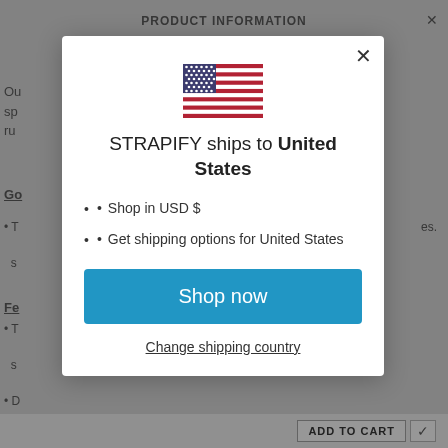[Figure (screenshot): Background webpage showing product information page for Strapify, partially obscured by modal overlay]
[Figure (illustration): US flag emoji/icon displayed at top of modal dialog]
STRAPIFY ships to United States
Shop in USD $
Get shipping options for United States
Shop now
Change shipping country